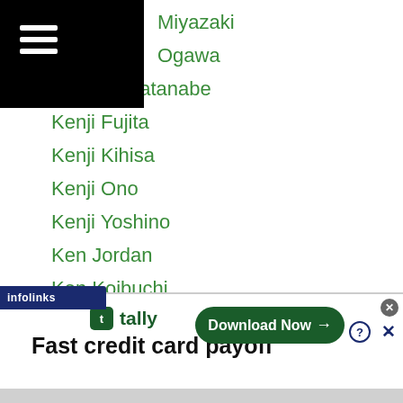Miyazaki
Ogawa
Kenichi Watanabe
Kenji Fujita
Kenji Kihisa
Kenji Ono
Kenji Yoshino
Ken Jordan
Ken Koibuchi
Kenny Demecillo
Ken Osato
Kensei Hirano
Kenshi Noda
Kenshin Oshima
Kenshiro
Kenshiro (partial)
[Figure (screenshot): Advertisement banner for Tally app: 'Fast credit card payoff' with Download Now button. Infolinks label visible above the banner.]